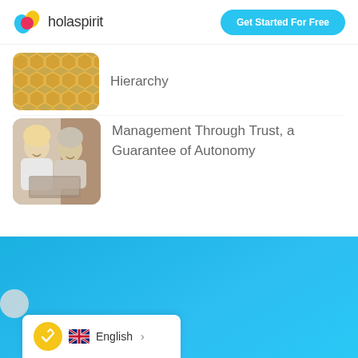holaspirit — Get Started For Free
Hierarchy
Management Through Trust, a Guarantee of Autonomy
[Figure (photo): Two women smiling and working together on a laptop]
English >